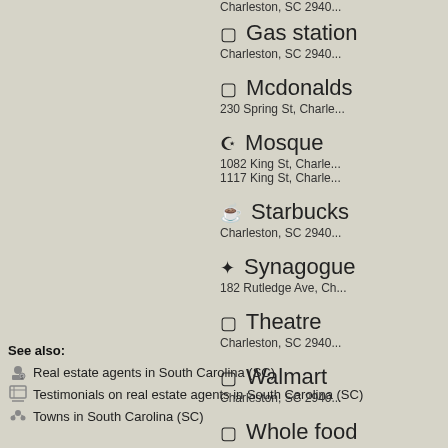Charleston, SC 2940...
Gas station
Charleston, SC 2940...
Mcdonalds
230 Spring St, Charle...
Mosque
1082 King St, Charle...
1117 King St, Charle...
Starbucks
Charleston, SC 2940...
Synagogue
182 Rutledge Ave, Ch...
Theatre
Charleston, SC 2940...
Walmart
Charleston, SC 2940...
Whole food
Charleston, SC 2940...
See also:
Real estate agents in South Carolina (SC)
Testimonials on real estate agents in South Carolina (SC)
Towns in South Carolina (SC)